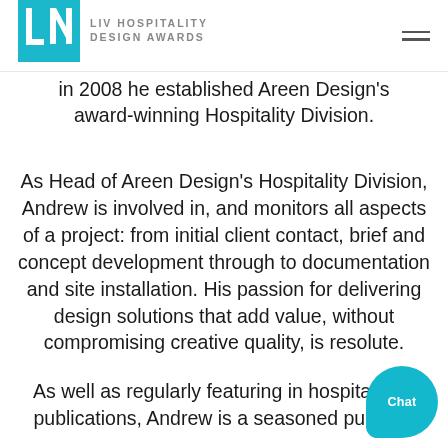LIV HOSPITALITY DESIGN AWARDS
in 2008 he established Areen Design's award-winning Hospitality Division.
As Head of Areen Design's Hospitality Division, Andrew is involved in, and monitors all aspects of a project: from initial client contact, brief and concept development through to documentation and site installation. His passion for delivering design solutions that add value, without compromising creative quality, is resolute.
As well as regularly featuring in hospitality publications, Andrew is a seasoned public